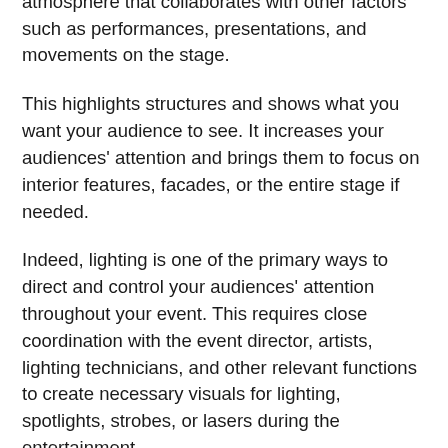It provides illumination, depth, and an exciting atmosphere that collaborates with other factors such as performances, presentations, and movements on the stage.
This highlights structures and shows what you want your audience to see. It increases your audiences' attention and brings them to focus on interior features, facades, or the entire stage if needed.
Indeed, lighting is one of the primary ways to direct and control your audiences' attention throughout your event. This requires close coordination with the event director, artists, lighting technicians, and other relevant functions to create necessary visuals for lighting, spotlights, strobes, or lasers during the entertainment.
Thus, creative lightings can transform even a